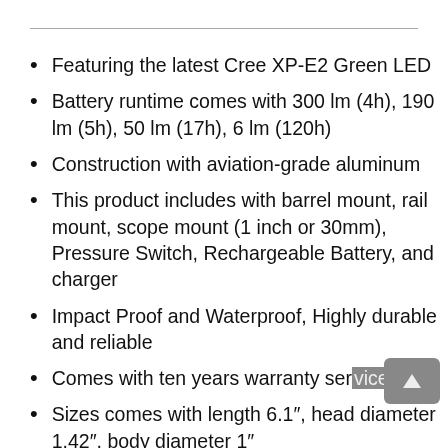Featuring the latest Cree XP-E2 Green LED
Battery runtime comes with 300 lm (4h), 190 lm (5h), 50 lm (17h), 6 lm (120h)
Construction with aviation-grade aluminum
This product includes with barrel mount, rail mount, scope mount (1 inch or 30mm), Pressure Switch, Rechargeable Battery, and charger
Impact Proof and Waterproof, Highly durable and reliable
Comes with ten years warranty service
Sizes comes with length 6.1″, head diameter 1.42″, body diameter 1″